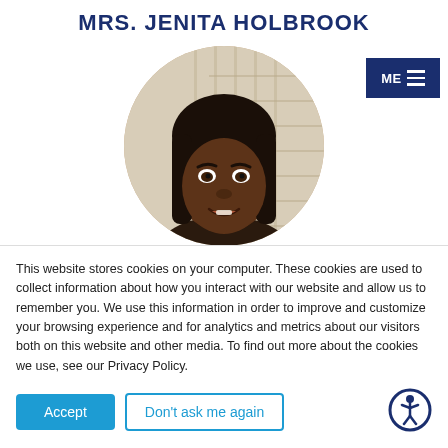MRS. JENITA HOLBROOK
[Figure (photo): Circular portrait photo of Mrs. Jenita Holbrook, a woman with dark straight hair, smiling, against a light striped background]
This website stores cookies on your computer. These cookies are used to collect information about how you interact with our website and allow us to remember you. We use this information in order to improve and customize your browsing experience and for analytics and metrics about our visitors both on this website and other media. To find out more about the cookies we use, see our Privacy Policy.
Accept
Don't ask me again